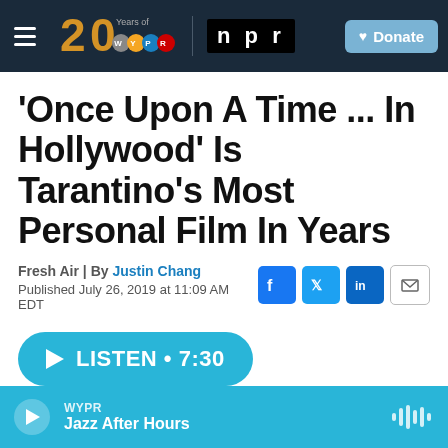WYPR 20 Years of WYPR | npr | Donate
'Once Upon A Time ... In Hollywood' Is Tarantino's Most Personal Film In Years
Fresh Air | By Justin Chang
Published July 26, 2019 at 11:09 AM EDT
[Figure (other): Social sharing icons: Facebook, Twitter, LinkedIn, Email]
LISTEN • 7:30
WYPR Jazz After Hours